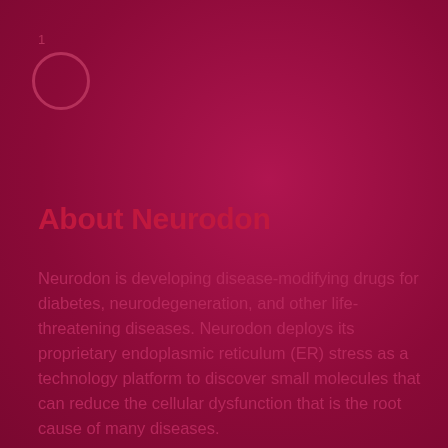1
[Figure (illustration): Circle outline graphic element]
About Neurodon
Neurodon is developing disease-modifying drugs for diabetes, neurodegeneration, and other life-threatening diseases. Neurodon deploys its proprietary endoplasmic reticulum (ER) stress as a technology platform to discover small molecules that can reduce the cellular dysfunction that is the root cause of many diseases.